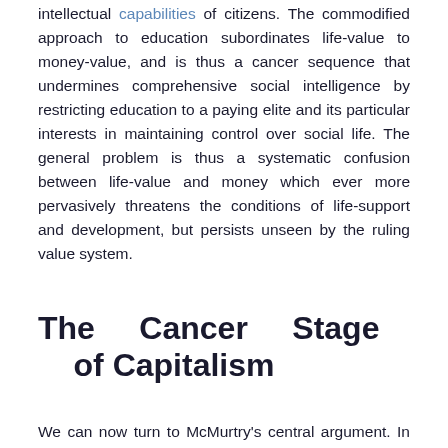intellectual capabilities of citizens. The commodified approach to education subordinates life-value to money-value, and is thus a cancer sequence that undermines comprehensive social intelligence by restricting education to a paying elite and its particular interests in maintaining control over social life. The general problem is thus a systematic confusion between life-value and money which ever more pervasively threatens the conditions of life-support and development, but persists unseen by the ruling value system.
The Cancer Stage of Capitalism
We can now turn to McMurtry's central argument. In Marx's classic analysis of capitalism, money is